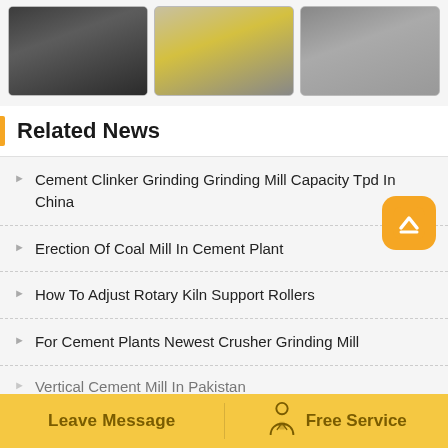[Figure (photo): Three industrial machinery photos: mobile crusher, cone crusher/grinding mill in yellow, and rotary kiln/industrial equipment]
Related News
Cement Clinker Grinding Grinding Mill Capacity Tpd In China
Erection Of Coal Mill In Cement Plant
How To Adjust Rotary Kiln Support Rollers
For Cement Plants Newest Crusher Grinding Mill
Vertical Cement Mill In Pakistan
Leave Message   Free Service